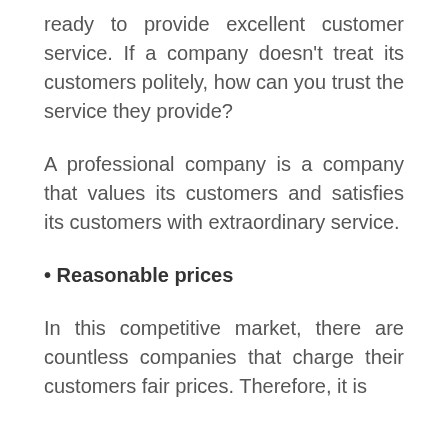ready to provide excellent customer service. If a company doesn't treat its customers politely, how can you trust the service they provide?
A professional company is a company that values its customers and satisfies its customers with extraordinary service.
• Reasonable prices
In this competitive market, there are countless companies that charge their customers fair prices. Therefore, it is